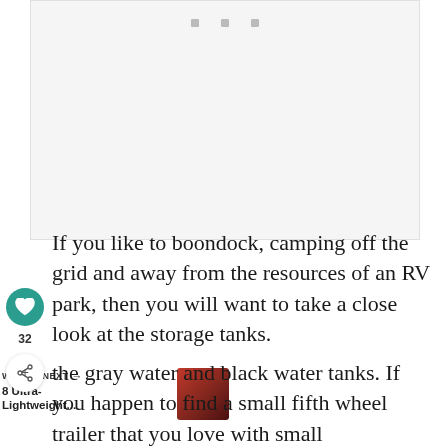[Figure (photo): Placeholder image area with three gray dots at top center, light gray background]
If you like to boondock, camping off the grid and away from the resources of an RV park, then you will want to take a close look at the storage tanks.
... the gray water and black water tanks. If you happen to find a small fifth wheel trailer that you love with small
WHAT'S NEXT → 8 Ultra-Lightweight...